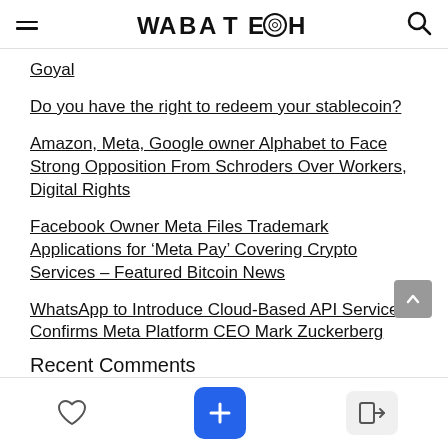WABA TECH
Goyal
Do you have the right to redeem your stablecoin?
Amazon, Meta, Google owner Alphabet to Face Strong Opposition From Schroders Over Workers, Digital Rights
Facebook Owner Meta Files Trademark Applications for ‘Meta Pay’ Covering Crypto Services – Featured Bitcoin News
WhatsApp to Introduce Cloud-Based API Services, Confirms Meta Platform CEO Mark Zuckerberg
Recent Comments